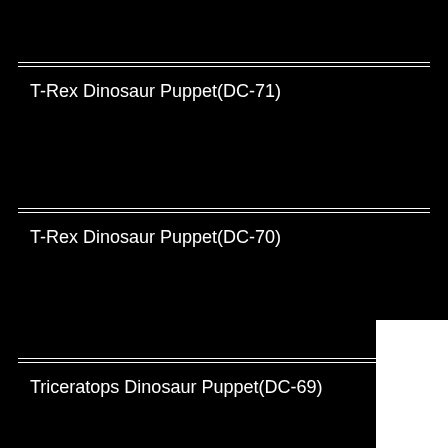T-Rex Dinosaur Puppet(DC-71)
T-Rex Dinosaur Puppet(DC-70)
Triceratops Dinosaur Puppet(DC-69)